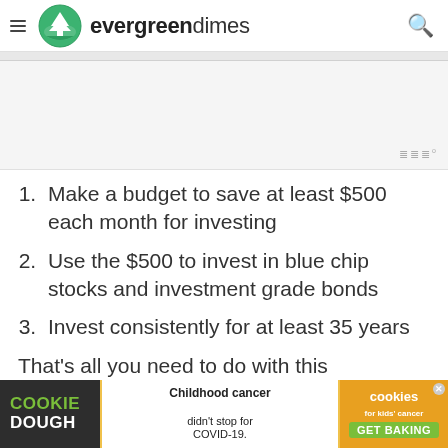evergreendimes
[Figure (other): Advertisement placeholder area (gray background) with small watermark 'iii°' in bottom right]
Make a budget to save at least $500 each month for investing
Use the $500 to invest in blue chip stocks and investment grade bonds
Invest consistently for at least 35 years
That's all you need to do with this investment st...                                                                                    of
[Figure (other): Bottom advertisement banner: Cookie Dough brand ad — 'Childhood cancer didn't stop for COVID-19. GET BAKING' with cookies for kids' cancer logo]